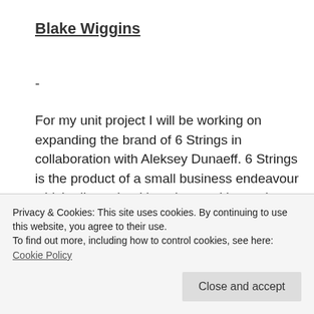Blake Wiggins
-
For my unit project I will be working on expanding the brand of 6 Strings in collaboration with Aleksey Dunaeff. 6 Strings is the product of a small business endeavour which allows the title to be used in a solo, duo and band situation in an attempt to expand performance and visual content, such as a
Privacy & Cookies: This site uses cookies. By continuing to use this website, you agree to their use.
To find out more, including how to control cookies, see here: Cookie Policy
Close and accept